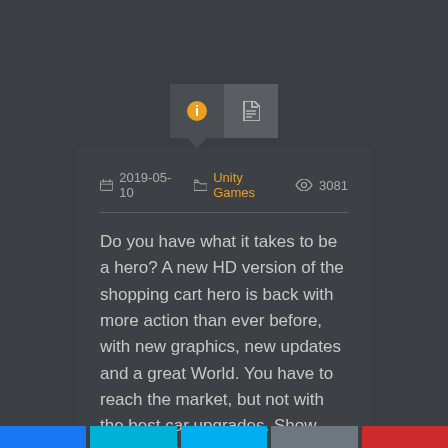[Figure (screenshot): Tab bar with info icon (active, dark tab with downward pointer) and document icon (inactive, lighter tab)]
2019-05-10   Unity Games   3081
Do you have what it takes to be a hero? A new HD version of the shopping cart hero is back with more action than ever before, with new graphics, new updates and a great World. You have to reach the market, but not with the best car upgrades. Show your best tricks and become the real hero.
None